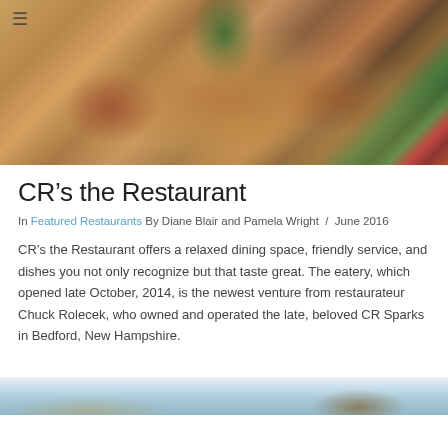[Figure (photo): Close-up photo of a gourmet dish featuring shrimp or prawns with arugula greens on top, served in a white bowl with a golden broth, with a hamburger menu icon overlay in the top left]
CR’s the Restaurant
In Featured Restaurants By Diane Blair and Pamela Wright / June 2016
CR’s the Restaurant offers a relaxed dining space, friendly service, and dishes you not only recognize but that taste great. The eatery, which opened late October, 2014, is the newest venture from restaurateur Chuck Rolecek, who owned and operated the late, beloved CR Sparks in Bedford, New Hampshire.
[Figure (photo): Partial view of another food dish photo, cropped at the bottom of the page]